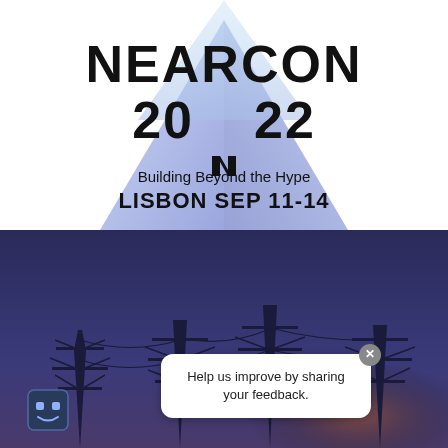[Figure (illustration): NEARCON 2022 event poster. Top half: white background with blue/purple diamond/triangle geometric shape behind the NEAR logo. Text reads NEARCON, 20 22, NEAR logo symbol, Building Beyond the Hype, LISBON SEP 11-14. Bottom half: dark blue photo of electrical power line towers at dusk with a chatbot popup saying 'Help us improve by sharing your feedback.']